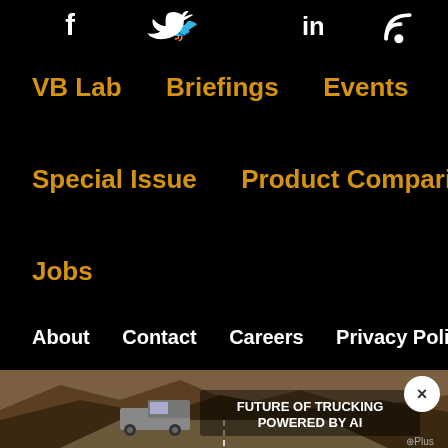[Figure (infographic): Social media icons: Facebook (f), Twitter (bird), LinkedIn (in), RSS feed at the top on black background]
VB Lab    Briefings    Events
Special Issue    Product Comparisons
Jobs
About    Contact    Careers    Privacy Policy
Terms of Service
[Figure (photo): Advertisement banner: truck on desert road with text FUTURE OF TRUCKING POWERED BY AI, GPlus logo]